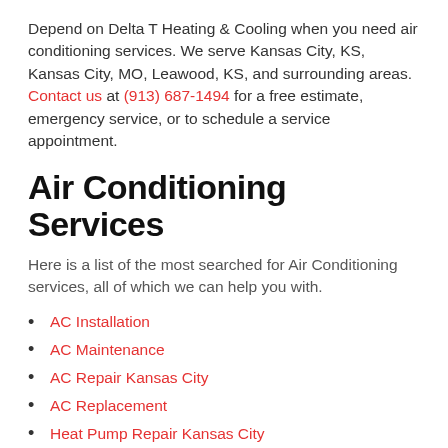Depend on Delta T Heating & Cooling when you need air conditioning services. We serve Kansas City, KS, Kansas City, MO, Leawood, KS, and surrounding areas. Contact us at (913) 687-1494 for a free estimate, emergency service, or to schedule a service appointment.
Air Conditioning Services
Here is a list of the most searched for Air Conditioning services, all of which we can help you with.
AC Installation
AC Maintenance
AC Repair Kansas City
AC Replacement
Heat Pump Repair Kansas City
Thermostats
Drain Cleaning Kansas City
Electrician Kansas City